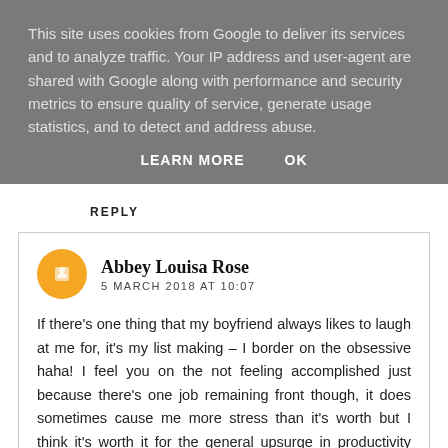This site uses cookies from Google to deliver its services and to analyze traffic. Your IP address and user-agent are shared with Google along with performance and security metrics to ensure quality of service, generate usage statistics, and to detect and address abuse.
LEARN MORE   OK
REPLY
Abbey Louisa Rose
5 MARCH 2018 AT 10:07

If there's one thing that my boyfriend always likes to laugh at me for, it's my list making – I border on the obsessive haha! I feel you on the not feeling accomplished just because there's one job remaining front though, it does sometimes cause me more stress than it's worth but I think it's worth it for the general upsurge in productivity that I experience when I've got a list on the go! I've even made a list of blogs that I intend to catch up